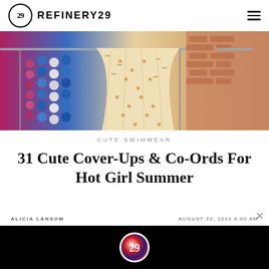REFINERY29
[Figure (photo): Hero image showing colorful beaded necklaces and patterned wide-leg pants on a clothing rack against a brick wall background]
CUTE SWIMWEAR
31 Cute Cover-Ups & Co-Ords For Hot Girl Summer
ALICIA LANSOM    AUGUST 22, 2022 6:00 AM
[Figure (logo): Refinery29 logo circle in ad bar at bottom]